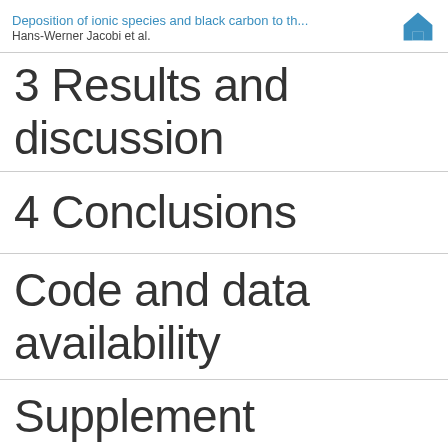Deposition of ionic species and black carbon to th... | Hans-Werner Jacobi et al.
3  Results and discussion
4  Conclusions
Code and data availability
Supplement